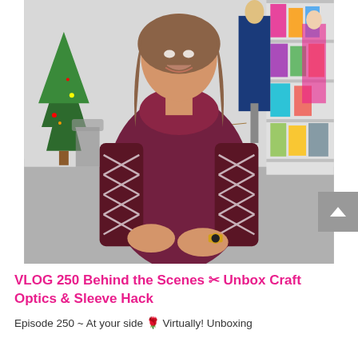[Figure (photo): A smiling woman wearing a dark burgundy/wine velvet dress with distinctive cut-out lattice/criss-cross sleeves and a cowl neckline. She stands with arms crossed in what appears to be a clothing studio or showroom. In the background is a Christmas tree on the left, a mannequin in a blue suit, shelving with folded garments, and a pink mannequin on the right.]
VLOG 250 Behind the Scenes ✂ Unbox Craft Optics & Sleeve Hack
Episode 250 ~ At your side 🌹 Virtually! Unboxing